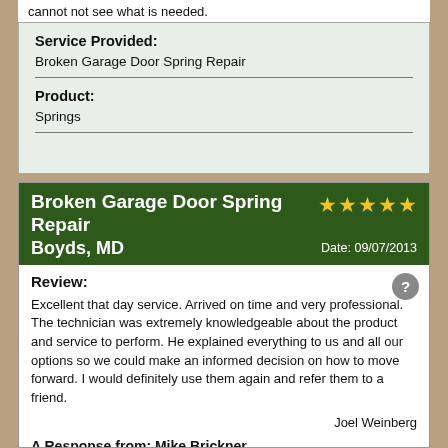cannot not see what is needed.
| Service Provided: | Broken Garage Door Spring Repair |
| Product: | Springs |
Broken Garage Door Spring Repair ★★★★★ Boyds, MD   Date: 09/07/2013
Review:
Excellent that day service. Arrived on time and very professional. The technician was extremely knowledgeable about the product and service to perform. He explained everything to us and all our options so we could make an informed decision on how to move forward. I would definitely use them again and refer them to a friend.
Joel Weinberg
A Response from: Mike Brickner
Thank you for your kind words about our Prompt and Promising...